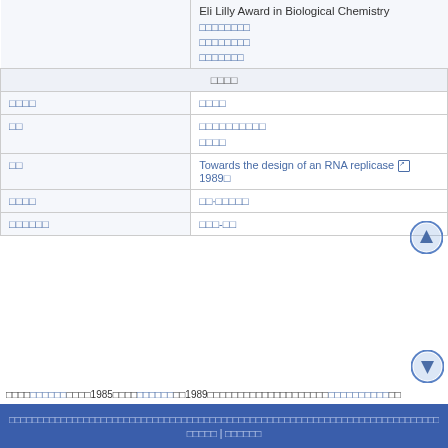|  | Eli Lilly Award in Biological Chemistry
□□□□□□□□
□□□□□□□□
□□□□□□□ |
| □□□□ | （header row） |
| □□□□ | □□□□ |
| □□ | □□□□□□□□□□
□□□□ |
| □□ | Towards the design of an RNA replicase [ext]1989□ |
| □□□□ | □□·□□□□□ |
| □□□□□□ | □□□-□□ |
□□□□□□□□□□□□□1985□□□□□□□□□□1989□□□□□□□□□□□□□□□□□□□□□□□□□□□
□□□□□□□□□□□□□□□□□□□□□□□□□□□□□□□□□□□□□□□□□□□□□□□□□□□□□□□□□□□□□□□□□□□□□□□□□□□□□□□□ | □□□□□□